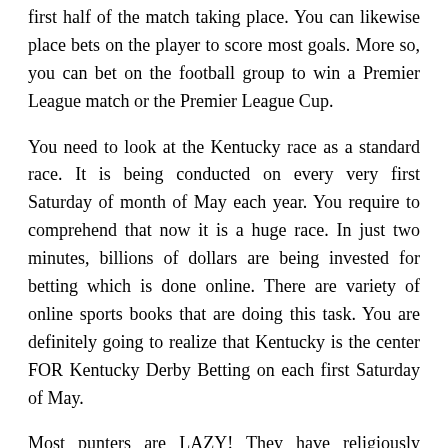first half of the match taking place. You can likewise place bets on the player to score most goals. More so, you can bet on the football group to win a Premier League match or the Premier League Cup.
You need to look at the Kentucky race as a standard race. It is being conducted on every very first Saturday of month of May each year. You require to comprehend that now it is a huge race. In just two minutes, billions of dollars are being invested for betting which is done online. There are variety of online sports books that are doing this task. You are definitely going to realize that Kentucky is the center FOR Kentucky Derby Betting on each first Saturday of May.
Most punters are LAZY! They have religiously followed a teaching of poor preparation and lack of research. They decline to study and invest hours taking a look at how they can win at wagering. They decline to purchase the game and invest in their own knowing. You cant refuse to spend